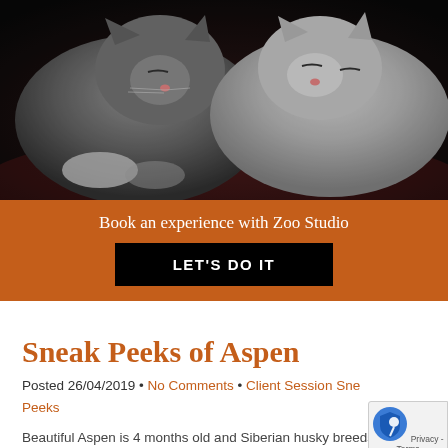[Figure (photo): Two kittens sleeping side by side on a dark cushion. One is gray and one is lighter/white, photographed close up.]
Book an experience with Zoo Studio
LET'S DO IT
Sneak Peeks of Aspen
Posted 26/04/2019 • No Comments • Client Session Sneak Peeks
Beautiful Aspen is 4 months old and Siberian husky breeds...